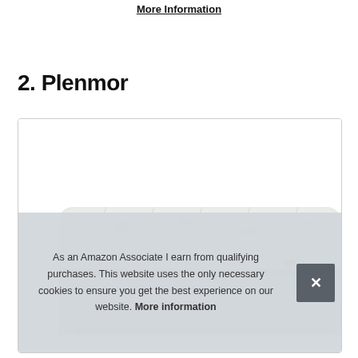More Information
2. Plenmor
[Figure (photo): A rolled or folded mattress with a light grey/white surface printed with a subtle botanical/leaf pattern, shown inside a card/box container with a cookie consent banner overlay.]
As an Amazon Associate I earn from qualifying purchases. This website uses the only necessary cookies to ensure you get the best experience on our website. More information